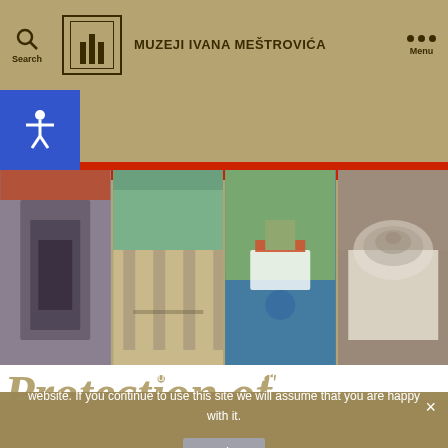MUZEJI IVANA MEŠTROVIĆA
[Figure (screenshot): Website screenshot of Muzeji Ivana Meštrovića showing museum header with search icon, logo, museum name, menu dots, accessibility button, and four photo panels of museum locations]
Protection of
We use cookies to ensure that we give you the best experience on our website. If you continue to use this site we will assume that you are happy with it.